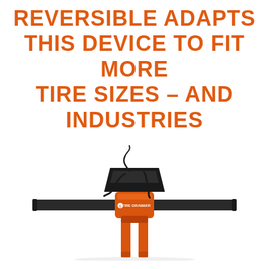REVERSIBLE ADAPTS THIS DEVICE TO FIT MORE TIRE SIZES – AND INDUSTRIES
[Figure (photo): Orange hydraulic tire grabber attachment device shown from above/front, with two horizontal black arms extending left and right, orange body with 'G Tire Grabber' label, two orange vertical prongs at bottom, black hydraulic hoses, and a black mounting plate on top.]